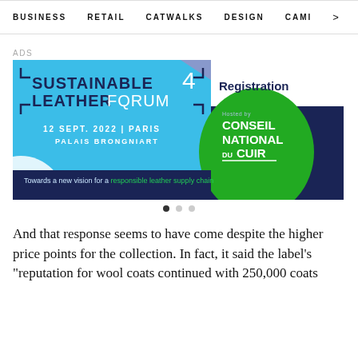BUSINESS   RETAIL   CATWALKS   DESIGN   CAMI  >
ADS
[Figure (illustration): Advertisement banner for the 4th Sustainable Leather Forum, held 12 Sept. 2022 in Paris, Palais Brongniart. Hosted by Conseil National du Cuir. Features Registration button. Tagline: Towards a new vision for a responsible leather supply chain.]
And that response seems to have come despite the higher price points for the collection. In fact, it said the label’s “reputation for wool coats continued with 250,000 coats